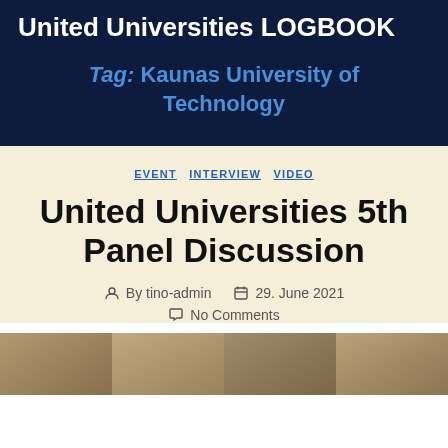United Universities LOGBOOK
Tag: Kaunas University of Technology
EVENT  INTERVIEW  VIDEO
United Universities 5th Panel Discussion
By tino-admin  29. June 2021  No Comments
[Figure (photo): Partial photo strip at the bottom of the page showing a group scene]